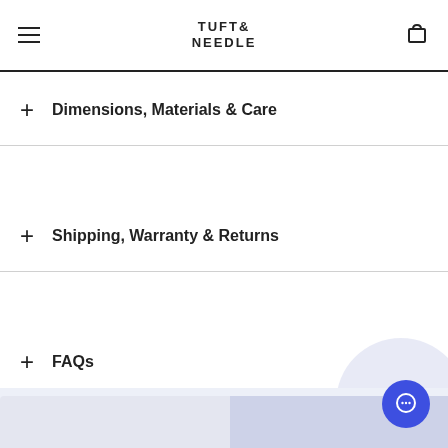TUFT & NEEDLE
+ Dimensions, Materials & Care
+ Shipping, Warranty & Returns
+ FAQs
Why you’ll love it.